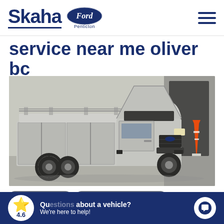[Figure (logo): Skaha Ford Penticton logo with hamburger menu on the right]
service near me oliver bc
[Figure (photo): A silver Ford F-550 service truck with the hood open, parked inside an automotive service garage. Orange traffic cone visible in background.]
Commercial News
Medium-Duty Truck Services
er Blade Maintenance and
Questions about a vehicle? We're here to help!